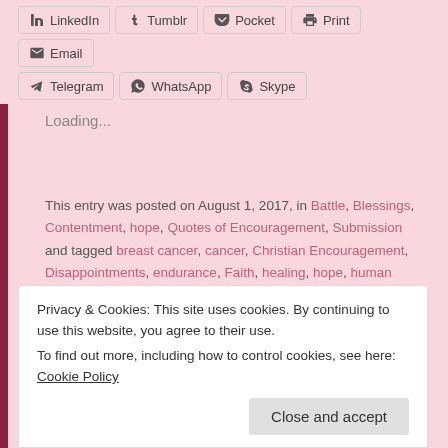LinkedIn | Tumblr | Pocket | Print | Email
Telegram | WhatsApp | Skype
Loading...
This entry was posted on August 1, 2017, in Battle, Blessings, Contentment, hope, Quotes of Encouragement, Submission and tagged breast cancer, cancer, Christian Encouragement, Disappointments, endurance, Faith, healing, hope, human condition, quotes of encouragement, trust.
2 Comments
Privacy & Cookies: This site uses cookies. By continuing to use this website, you agree to their use. To find out more, including how to control cookies, see here: Cookie Policy
Close and accept